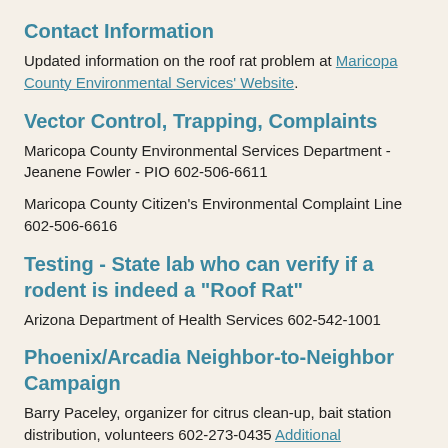Contact Information
Updated information on the roof rat problem at Maricopa County Environmental Services' Website.
Vector Control, Trapping, Complaints
Maricopa County Environmental Services Department - Jeanene Fowler - PIO 602-506-6611
Maricopa County Citizen's Environmental Complaint Line 602-506-6616
Testing - State lab who can verify if a rodent is indeed a "Roof Rat"
Arizona Department of Health Services 602-542-1001
Phoenix/Arcadia Neighbor-to-Neighbor Campaign
Barry Paceley, organizer for citrus clean-up, bait station distribution, volunteers 602-273-0435 Additional